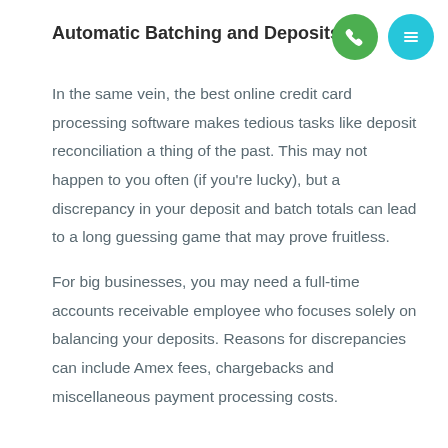Automatic Batching and Deposits
[Figure (illustration): Two circular icon buttons: a green circle with a phone/call icon and a teal/cyan circle with a menu/hamburger icon, positioned in the top-right area.]
In the same vein, the best online credit card processing software makes tedious tasks like deposit reconciliation a thing of the past. This may not happen to you often (if you're lucky), but a discrepancy in your deposit and batch totals can lead to a long guessing game that may prove fruitless.
For big businesses, you may need a full-time accounts receivable employee who focuses solely on balancing your deposits. Reasons for discrepancies can include Amex fees, chargebacks and miscellaneous payment processing costs.